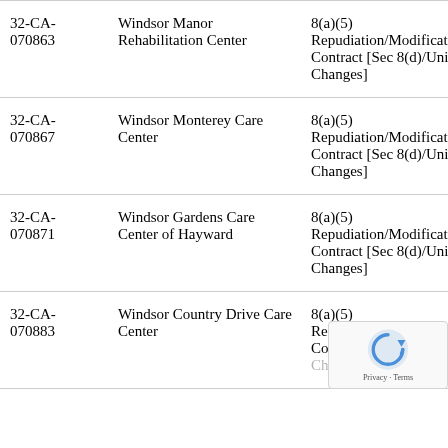| Case Number | Respondent | Allegation |
| --- | --- | --- |
| 32-CA-070863 | Windsor Manor Rehabilitation Center | 8(a)(5) Repudiation/Modification of Contract [Sec 8(d)/Unilateral Changes] |
| 32-CA-070867 | Windsor Monterey Care Center | 8(a)(5) Repudiation/Modification of Contract [Sec 8(d)/Unilateral Changes] |
| 32-CA-070871 | Windsor Gardens Care Center of Hayward | 8(a)(5) Repudiation/Modification of Contract [Sec 8(d)/Unilateral Changes] |
| 32-CA-070883 | Windsor Country Drive Care Center | 8(a)(5) Repudiation/Modification of Contract [Sec 8(d)/Unilateral Changes] |